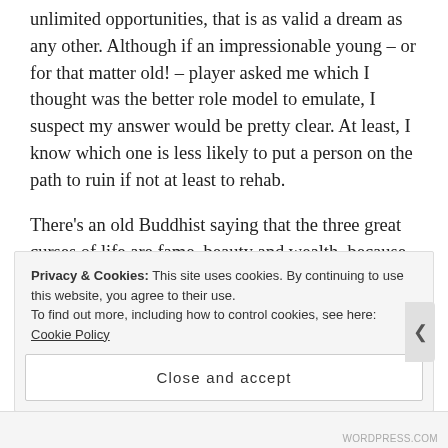unlimited opportunities, that is as valid a dream as any other. Although if an impressionable young – or for that matter old! – player asked me which I thought was the better role model to emulate, I suspect my answer would be pretty clear. At least, I know which one is less likely to put a person on the path to ruin if not at least to rehab.
There's an old Buddhist saying that the three great curses of life are fame, beauty and wealth  because of the troubles that human beings often end up with when trying to handle such 'blessings' in a healthy
Privacy & Cookies: This site uses cookies. By continuing to use this website, you agree to their use.
To find out more, including how to control cookies, see here: Cookie Policy
Close and accept